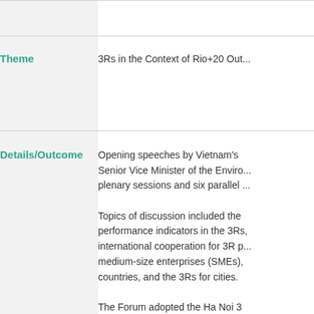| Field | Value |
| --- | --- |
|  |  |
| Theme | 3Rs in the Context of Rio+20 Out... |
| Details/Outcome | Opening speeches by Vietnam's Senior Vice Minister of the Enviro... plenary sessions and six parallel... Topics of discussion included the performance indicators in the 3Rs, international cooperation for 3R p... medium-size enterprises (SMEs),... countries, and the 3Rs for cities. The Forum adopted the Ha Noi 3 regional response to the outcome... |